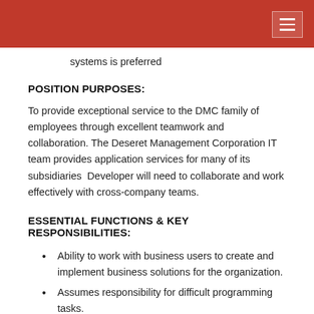systems is preferred
POSITION PURPOSES:
To provide exceptional service to the DMC family of employees through excellent teamwork and collaboration. The Deseret Management Corporation IT team provides application services for many of its subsidiaries  Developer will need to collaborate and work effectively with cross-company teams.
ESSENTIAL FUNCTIONS & KEY RESPONSIBILITIES:
Ability to work with business users to create and implement business solutions for the organization.
Assumes responsibility for difficult programming tasks.